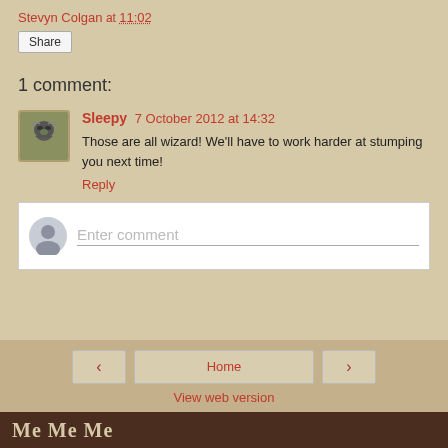Stevyn Colgan at 11:02
Share
1 comment:
Sleepy 7 October 2012 at 14:32
Those are all wizard! We'll have to work harder at stumping you next time!
Reply
Enter comment
Home | View web version